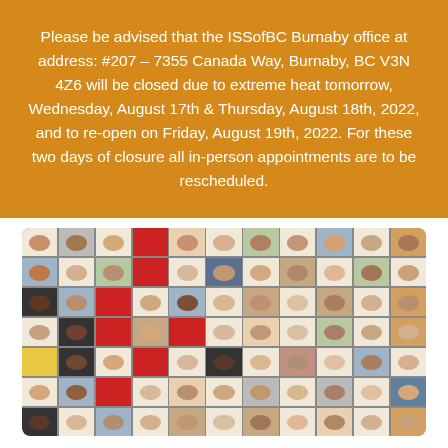Please be advised that the ISSofBC Burnaby office at address: #207 – 7355 Canada Way, Burnaby, BC V3N 4Z6 will be closed due to extreme heat tomorrow, Wednesday, August 17th & Thursday, August 18th, 2022, and to re-open on Friday, August 19th, 2022. For these two days of closure all in-person appointments are to be rescheduled.
[Figure (photo): A large grid of video call participant thumbnails showing many people in individual video frames, arranged in rows and columns, resembling a Zoom or Teams meeting screenshot with a diverse group of participants.]